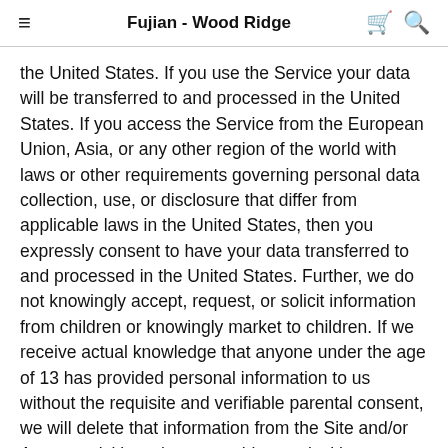Fujian - Wood Ridge
the United States. If you use the Service your data will be transferred to and processed in the United States. If you access the Service from the European Union, Asia, or any other region of the world with laws or other requirements governing personal data collection, use, or disclosure that differ from applicable laws in the United States, then you expressly consent to have your data transferred to and processed in the United States. Further, we do not knowingly accept, request, or solicit information from children or knowingly market to children. If we receive actual knowledge that anyone under the age of 13 has provided personal information to us without the requisite and verifiable parental consent, we will delete that information from the Site and/or App as quickly as is reasonably practical in accordance with the U.S. Children's Online Privacy Protection Act.